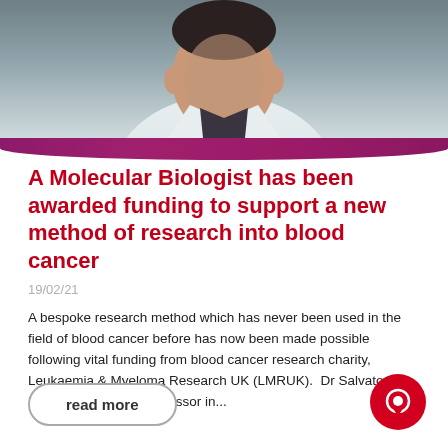[Figure (photo): Photo of a person (molecular biologist) in a white lab coat, cropped showing the upper body, with a purple/maroon decorative bar at the bottom of the image]
A Molecular Biologist has been awarded funding to support a new method of research into blood cancer
19/02/21
A bespoke research method which has never been used in the field of blood cancer before has now been made possible following vital funding from blood cancer research charity, Leukaemia & Myeloma Research UK (LMRUK).  Dr Salvatore Papa, an Assistant Professor in...
read more